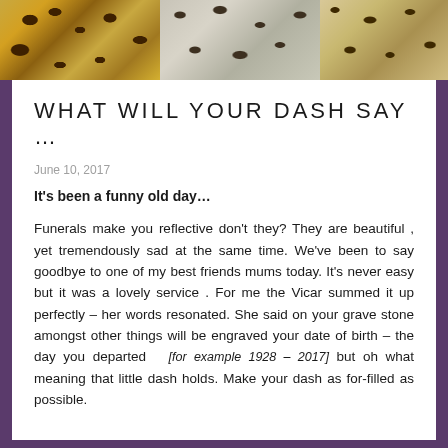[Figure (photo): Three panels of leopard/animal print fabric in gold-brown, grey, and tan tones]
WHAT WILL YOUR DASH SAY …
June 10, 2017
It's been a funny old day…
Funerals make you reflective don't they? They are beautiful , yet tremendously sad at the same time. We've been to say goodbye to one of my best friends mums today. It's never easy but it was a lovely service . For me the Vicar summed it up perfectly – her words resonated. She said on your grave stone amongst other things will be engraved your date of birth – the day you departed  [for example 1928 – 2017] but oh what meaning that little dash holds. Make your dash as for-filled as possible.